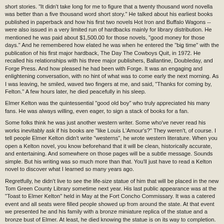short stories. "It didn't take long for me to figure that a twenty thousand word novella was better than a five thousand word short story." He talked about his earliest books published in paperback and how his first two novels Hot Iron and Buffalo Wagons -- were also issued in a very limited run of hardbacks mainly for library distribution. He mentioned he was paid about $1,500.00 for those novels, "good money for those days." And he remembered how elated he was when he entered the "big time" with the publication of his first major hardback, The Day The Cowboys Quit, in 1972. He recalled his relationships with his three major publishers, Ballantine, Doubleday, and Forge Press. And how pleased he had been with Forge. It was an engaging and enlightening conversation, with no hint of what was to come early the next morning. As I was leaving, he smiled, waved two fingers at me, and said, "Thanks for coming by, Felton." A few hours later, he died peacefully in his sleep.
Elmer Kelton was the quintessential "good old boy" who truly appreciated his many fans. He was always willing, even eager, to sign a stack of books for a fan.
Some folks think he was just another western writer. Some who've never read his works inevitably ask if his books are "like Louis L'Amour's?" They weren't, of course. I tell people Elmer Kelton didn't write "westerns", he wrote western literature. When you open a Kelton novel, you know beforehand that it will be clean, historically accurate, and entertaining. And somewhere on those pages will be a subtle message. Sounds simple. But his writing was so much more than that. You'll just have to read a Kelton novel to discover what I learned so many years ago.
Regretfully, he didn't live to see the life-size statue of him that will be placed in the new Tom Green County Library sometime next year. His last public appearance was at the "Toast to Elmer Kelton" held in May at the Fort Concho Commissary. It was a catered event and all seats were filled people showed up from around the state. At that event we presented he and his family with a bronze miniature replica of the statue and a bronze bust of Elmer. At least, he died knowing the statue is on its way to completion. And that it is being done by artist Raul Ruiz, who comes from a Tom Green County family that Elmer knew intimately for many years.
One of my life's greatest treasures is a signed copy of the book he had dedicated to me Texas Vendetta. The dedication page of that book reads: "To Felton Cochran, bookseller extraordinaire."
I will always remember Elmer as "friend extraordinaire."